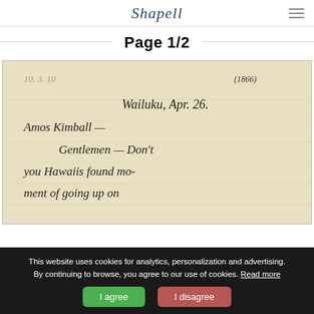Shapell
Page 1/2
[Figure (photo): Handwritten manuscript letter page showing cursive script on aged cream/ivory paper. Text reads: (1866) Wailuku, Apr. 26. Amos Kimball — [illegible] Gentlemen — Don't you Hawaiis found mo- ment of going up on [continues off page]]
This website uses cookies for analytics, personalization and advertising. By continuing to browse, you agree to our use of cookies. Read more
I agree
I disagree